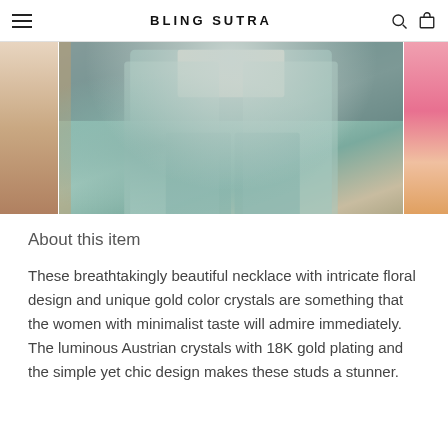BLING SUTRA
[Figure (photo): Fashion photo strip showing a woman in a mint green satin suit and pearl crop top, with partial images on either side]
About this item
These breathtakingly beautiful necklace with intricate floral design and unique gold color crystals are something that the women with minimalist taste will admire immediately. The luminous Austrian crystals with 18K gold plating and the simple yet chic design makes these studs a stunner.